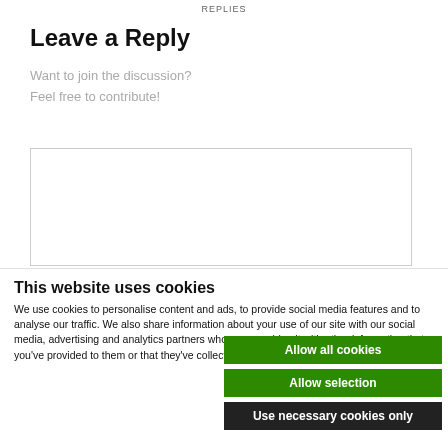REPLIES
Leave a Reply
Want to join the discussion?
Feel free to contribute!
[Figure (other): Empty text input area / comment box with border]
This website uses cookies
We use cookies to personalise content and ads, to provide social media features and to analyse our traffic. We also share information about your use of our site with our social media, advertising and analytics partners who may combine it with other information that you've provided to them or that they've collected from your use of their services.
Allow all cookies
Allow selection
Use necessary cookies only